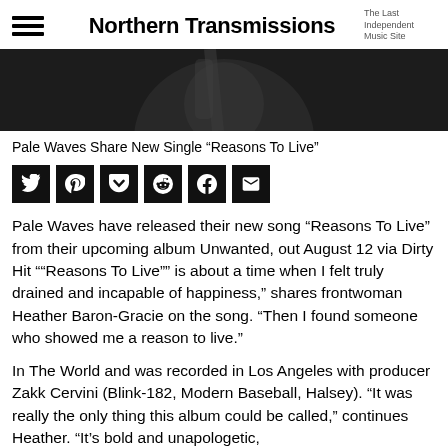Northern Transmissions — The Last Independent Music Site
[Figure (photo): Black and white photo of a person, partially visible, cropped at top]
Pale Waves Share New Single “Reasons To Live”
[Figure (infographic): Social share buttons: Twitter, Pinterest, Pocket, Reddit, Facebook, Email]
Pale Waves have released their new song “Reasons To Live” from their upcoming album Unwanted, out August 12 via Dirty Hit ““Reasons To Live”” is about a time when I felt truly drained and incapable of happiness,” shares frontwoman Heather Baron-Gracie on the song. “Then I found someone who showed me a reason to live.”
In The World and was recorded in Los Angeles with producer Zakk Cervini (Blink-182, Modern Baseball, Halsey). “It was really the only thing this album could be called,” continues Heather. “It’s bold and unapologetic,